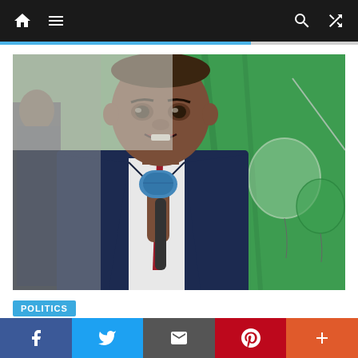Navigation bar with home, menu, search, and shuffle icons
[Figure (photo): A man in a dark navy blue suit with a red tie speaking into a blue microphone. Green decorative balloons and curtains are visible in the background. A second person in a dark suit is partially visible on the left.]
POLITICS
2023: Coalition vows to
Social share bar with Facebook, Twitter, Email, Pinterest, and More buttons